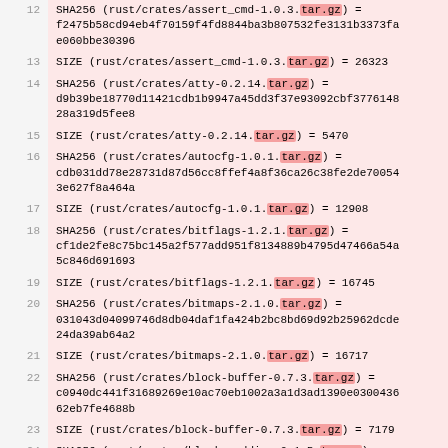| line | content |
| --- | --- |
| 12 | SHA256 (rust/crates/assert_cmd-1.0.3.tar.gz) = f2475b58cd94eb4f70159f4fd8844ba3b807532fe3131b3373fae060bbe30396 |
| 13 | SIZE (rust/crates/assert_cmd-1.0.3.tar.gz) = 26323 |
| 14 | SHA256 (rust/crates/atty-0.2.14.tar.gz) = d9b39be18770d11421cdb1b9947a45dd3f37e93092cbf377614828a319d5fee8 |
| 15 | SIZE (rust/crates/atty-0.2.14.tar.gz) = 5470 |
| 16 | SHA256 (rust/crates/autocfg-1.0.1.tar.gz) = cdb031dd78e28731d87d56cc8ffef4a8f36ca26c38fe2de700543e627f8a464a |
| 17 | SIZE (rust/crates/autocfg-1.0.1.tar.gz) = 12908 |
| 18 | SHA256 (rust/crates/bitflags-1.2.1.tar.gz) = cf1de2fe8c75bc145a2f577add951f8134889b4795d47466a54a5c846d691693 |
| 19 | SIZE (rust/crates/bitflags-1.2.1.tar.gz) = 16745 |
| 20 | SHA256 (rust/crates/bitmaps-2.1.0.tar.gz) = 031043d04099746d8db04daf1fa424b2bc8bd69d92b25962dcde24da39ab64a2 |
| 21 | SIZE (rust/crates/bitmaps-2.1.0.tar.gz) = 16717 |
| 22 | SHA256 (rust/crates/block-buffer-0.7.3.tar.gz) = c0940dc441f31689269e10ac70eb1002a3a1d3ad1390e030043662eb7fe4688b |
| 23 | SIZE (rust/crates/block-buffer-0.7.3.tar.gz) = 7179 |
| 24 | SHA256 (rust/crates/block-padding-0.1.5.tar.gz) = fa79dedbb091f449f1f39e53edf88d5dbe95f895dae6135a8d7b881fb5af73f5 |
| 25 | SIZE (rust/crates/block-padding-0.1.5.tar.gz) = 7342 |